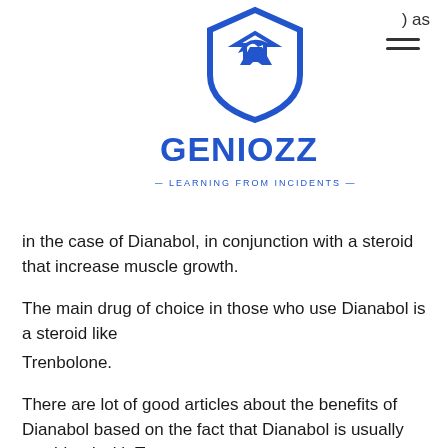) as
[Figure (logo): GENIOZZ logo — blue shield/G icon above the text GENIOZZ with tagline — LEARNING FROM INCIDENTS —]
in the case of Dianabol, in conjunction with a steroid that increase muscle growth.
The main drug of choice in those who use Dianabol is a steroid like
Trenbolone.
There are lot of good articles about the benefits of Dianabol based on the fact that Dianabol is usually combined with Testosterone.
So the "best" drug to take would be Trenbolone.
Since Trenbolone...